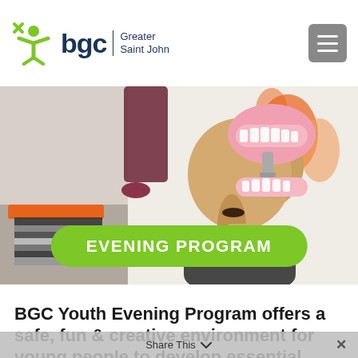BGC Greater Saint John
[Figure (photo): A child holding a dental model (teeth model), viewed from behind, with colorful artwork on the wall in the background.]
EVENING PROGRAM
BGC Youth Evening Program offers a safe, fun & creative environment for young people to develop essential skills
Share This